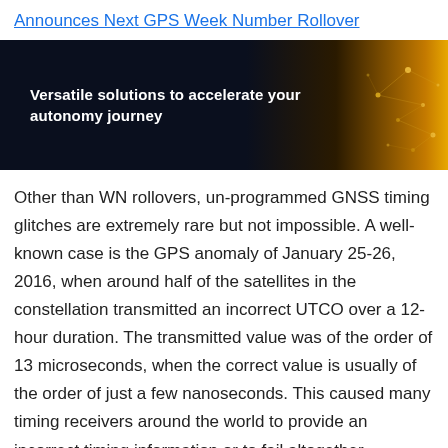Announces Next GPS Week Number Rollover
[Figure (illustration): Dark banner with text 'Versatile solutions to accelerate your autonomy journey' on a dark navy-to-orange gradient background with glowing network dot pattern on the right side.]
Other than WN rollovers, un-programmed GNSS timing glitches are extremely rare but not impossible. A well-known case is the GPS anomaly of January 25-26, 2016, when around half of the satellites in the constellation transmitted an incorrect UTCO over a 12-hour duration. The transmitted value was of the order of 13 microseconds, when the correct value is usually of the order of just a few nanoseconds. This caused many timing receivers around the world to provide an incorrect timing information or to fail altogether.